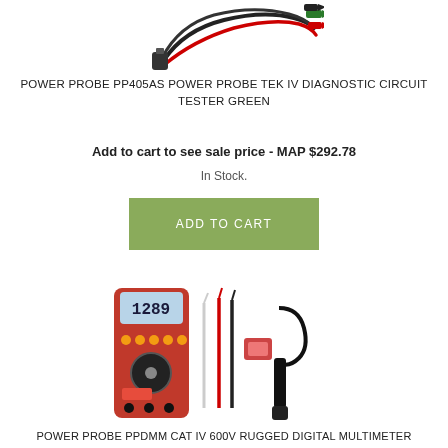[Figure (photo): Photo of test lead cables with red and black wires and alligator clips]
POWER PROBE PP405AS POWER PROBE TEK IV DIAGNOSTIC CIRCUIT TESTER GREEN
Add to cart to see sale price - MAP $292.78
In Stock.
ADD TO CART
[Figure (photo): Photo of red digital multimeter with display showing 1289, along with test probes and accessories]
POWER PROBE PPDMM CAT IV 600V RUGGED DIGITAL MULTIMETER